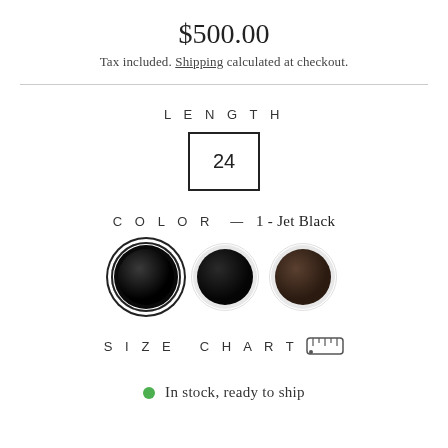$500.00
Tax included. Shipping calculated at checkout.
LENGTH
24
COLOR — 1 - Jet Black
[Figure (illustration): Three circular color swatches: first (Jet Black) with selected ring border, second (dark black), third (dark brown)]
SIZE CHART
In stock, ready to ship